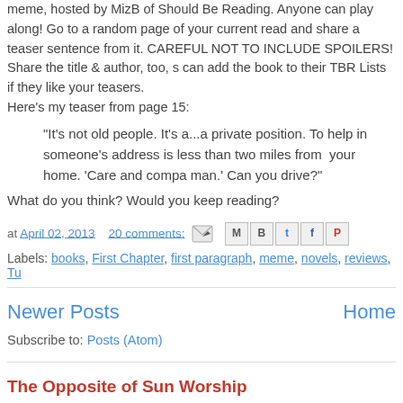meme, hosted by MizB of Should Be Reading. Anyone can play along! Go to a random page of your current read and share a teaser sentence from it. CAREFUL NOT TO INCLUDE SPOILERS! Share the title & author, too, so others can add the book to their TBR Lists if they like your teasers. Here's my teaser from page 15:
"It's not old people. It's a...a private position. To help in someone's address is less than two miles from your home. 'Care and compa... man.' Can you drive?"
What do you think? Would you keep reading?
at April 02, 2013   20 comments:
Labels: books, First Chapter, first paragraph, meme, novels, reviews, Tue
Newer Posts
Home
Subscribe to: Posts (Atom)
The Opposite of Sun Worship
It gets hot in the south of France. Summer days can soar into the 90s or in the 30s Celsius. And like most...